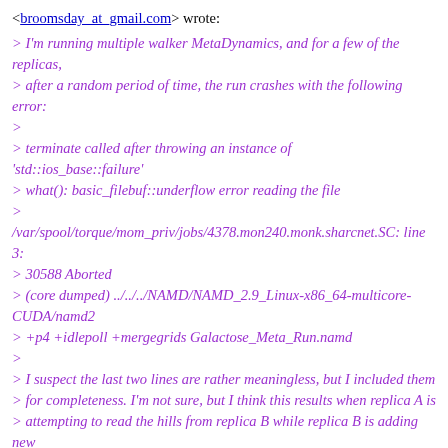<broomsday_at_gmail.com> wrote:
> I'm running multiple walker MetaDynamics, and for a few of the replicas,
> after a random period of time, the run crashes with the following error:
>
> terminate called after throwing an instance of 'std::ios_base::failure'
> what(): basic_filebuf::underflow error reading the file
>
/var/spool/torque/mom_priv/jobs/4378.mon240.monk.sharcnet.SC: line 3:
> 30588 Aborted
> (core dumped) ../../../NAMD/NAMD_2.9_Linux-x86_64-multicore-CUDA/namd2
> +p4 +idlepoll +mergegrids Galactose_Meta_Run.namd
>
> I suspect the last two lines are rather meaningless, but I included them
> for completeness. I'm not sure, but I think this results when replica A is
> attempting to read the hills from replica B while replica B is adding new
> hills, or alternatively when two replicas are trying to read hills